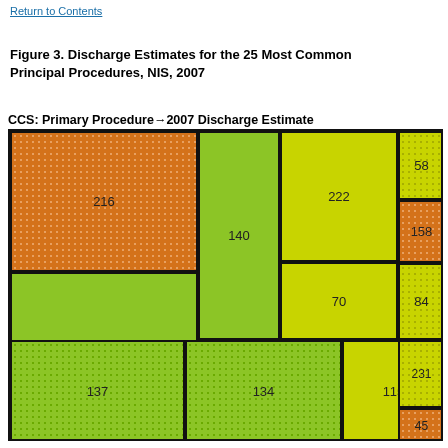Return to Contents
Figure 3. Discharge Estimates for the 25 Most Common Principal Procedures, NIS, 2007
[Figure (infographic): Treemap showing discharge estimates for the 25 most common principal procedures in NIS 2007. Cells labeled with CCS codes: 216, 228, 137, 140, 134, 222, 70, 115, 58, 158, 84, 231, 45.]